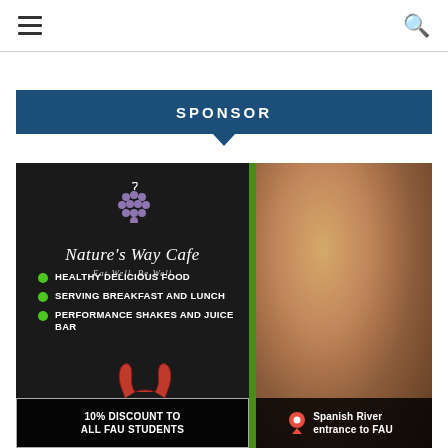Navigation bar with hamburger menu and search icon
SPONSOR
[Figure (infographic): Nature's Way Cafe advertisement. Left dark panel with cafe logo, grape icon, tagline 'Eat Well, Be Well', and bullet points: HEALTHY DELICIOUS FOOD, SERVING BREAKFAST AND LUNCH, PERFORMANCE SHAKES AND JUICE BAR. Bottom strip: '10% DISCOUNT TO ALL FAU STUDENTS' and 'Spanish River entrance to FAU'. Right side shows food photo of wrapped sandwich/roll.]